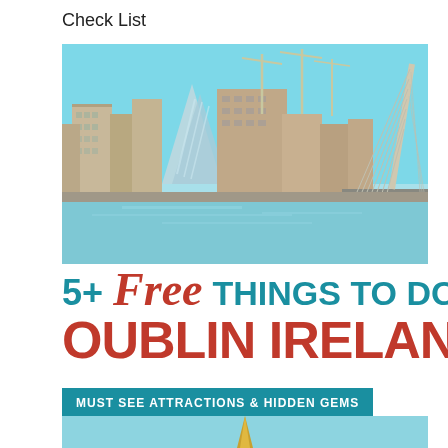Check List
[Figure (photo): Dublin city skyline with the Samuel Beckett Bridge (harp-shaped cable-stayed bridge) on the right, modern Convention Centre Dublin with glass panels on the left, construction cranes, and the River Liffey in the foreground under a clear blue sky.]
5+ Free THINGS TO DO IN DUBLIN IRELAND
MUST SEE ATTRACTIONS & HIDDEN GEMS
[Figure (photo): Partial view of a golden spire or monument tip against a light blue background, partially cut off at the bottom of the page.]